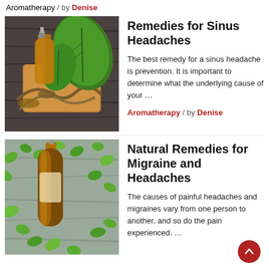Aromatherapy / by Denise
[Figure (photo): Herbs and roots on a wooden cutting board with leaves, aromatherapy ingredients on dark wood background]
Remedies for Sinus Headaches
The best remedy for a sinus headache is prevention. It is important to determine what the underlying cause of your …
Aromatherapy / by Denise
[Figure (photo): A dark amber essential oil bottle with green mint leaves on wood background]
Natural Remedies for Migraine and Headaches
The causes of painful headaches and migraines vary from one person to another, and so do the pain experienced. …